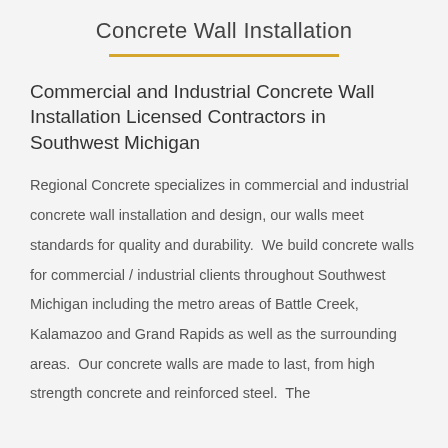Concrete Wall Installation
Commercial and Industrial Concrete Wall Installation Licensed Contractors in Southwest Michigan
Regional Concrete specializes in commercial and industrial concrete wall installation and design, our walls meet standards for quality and durability.  We build concrete walls for commercial / industrial clients throughout Southwest Michigan including the metro areas of Battle Creek, Kalamazoo and Grand Rapids as well as the surrounding areas.  Our concrete walls are made to last, from high strength concrete and reinforced steel.  The